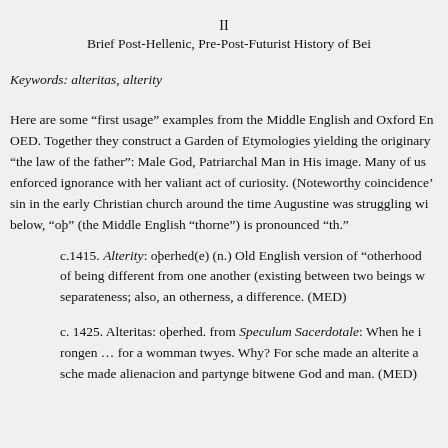II
Brief Post-Hellenic, Pre-Post-Futurist History of Bei
Keywords: alteritas, alterity
Here are some “first usage” examples from the Middle English and Oxford En OED. Together they construct a Garden of Etymologies yielding the originary “the law of the father”: Male God, Patriarchal Man in His image. Many of us enforced ignorance with her valiant act of curiosity. (Noteworthy coincidence sin in the early Christian church around the time Augustine was struggling wit below, “oþ” (the Middle English “thorne”) is pronounced “th.”
c.1415. Alterity: oþrhed(e) (n.) Old English version of “otherhood of being different from one another (existing between two beings w separateness; also, an otherness, a difference. (MED)
c. 1425. Alteritas: oþrhed. from Speculum Sacerdotale: When he i rongen … for a womman twyes. Why? For sche made an alterite a sche made alienacion and partynge bitwene God and man. (MED)